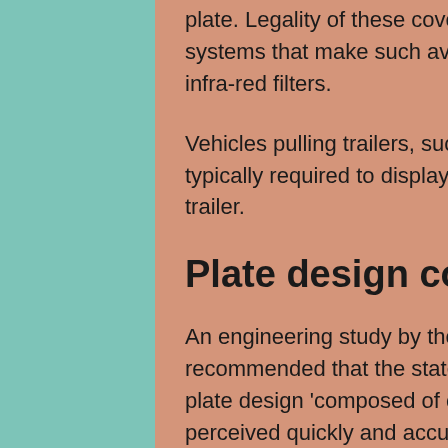plate. Legality of these covers varies. Some cameras incorporate filter systems that make such avoidance attempts unworkable, usually with infra-red filters.
Vehicles pulling trailers, such as caravans and semi-trailer trucks, are typically required to display a third registration plate on the rear of the trailer.
Plate design considerations[edit]
An engineering study by the University of Illinois published in 1960 recommended that the state of Illinois adopt a numbering system and plate design 'composed of combinations of characters which can be perceived quickly and accurately, are legible at a distance of